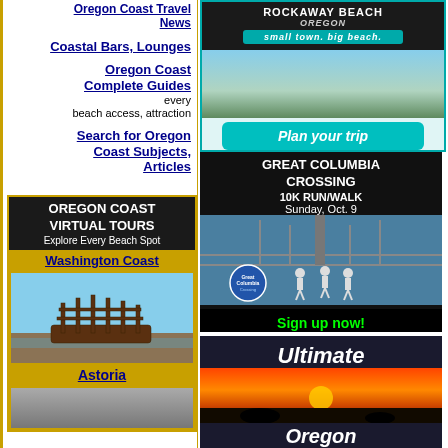Oregon Coast Travel News
Coastal Bars, Lounges
Oregon Coast Complete Guides every beach access, attraction
Search for Oregon Coast Subjects, Articles
[Figure (infographic): Oregon Coast Virtual Tours box with Washington Coast and Astoria links, shipwreck image]
[Figure (infographic): Rockaway Beach Oregon ad with Plan your trip button]
[Figure (infographic): Great Columbia Crossing 10K Run/Walk Sunday Oct 9, Sign up now ad]
[Figure (infographic): Ultimate Oregon ad with sunset beach scene]